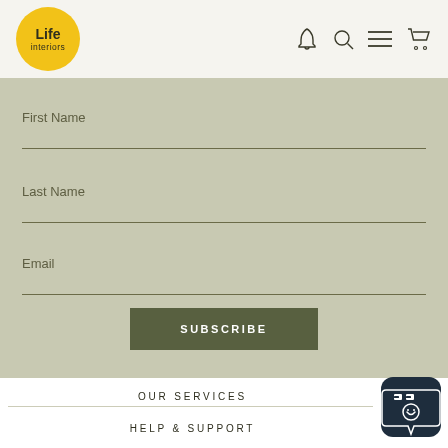[Figure (logo): Life Interiors yellow circular logo in top left header]
[Figure (infographic): Navigation icons: bell, search, hamburger menu, shopping cart]
First Name
Last Name
Email
SUBSCRIBE
OUR SERVICES
HELP & SUPPORT
[Figure (illustration): Chat support widget icon in bottom right corner]